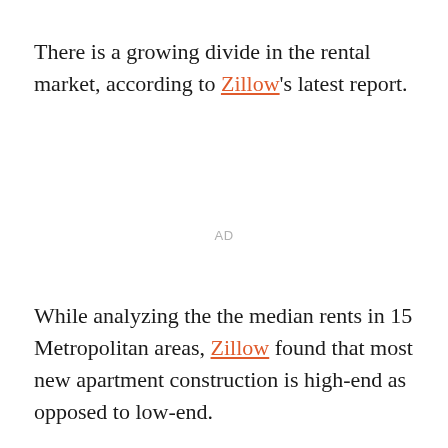There is a growing divide in the rental market, according to Zillow's latest report.
AD
While analyzing the the median rents in 15 Metropolitan areas, Zillow found that most new apartment construction is high-end as opposed to low-end.